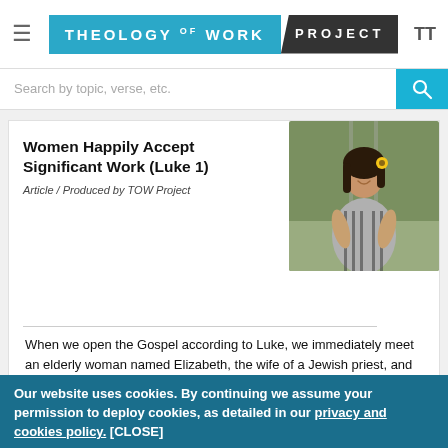Theology of Work Project
Search by topic, verse, etc.
Women Happily Accept Significant Work (Luke 1)
Article / Produced by TOW Project
[Figure (photo): Young pregnant woman smiling, sitting on train tracks outdoors, wearing a striped dress with a sunflower in her dark hair]
When we open the Gospel according to Luke, we immediately meet an elderly woman named Elizabeth, the wife of a Jewish priest, and a young girl named Mary, engaged to marry a carpenter. Barren Elizabeth is now six months pregnant in her old age and will later
Our website uses cookies. By continuing we assume your permission to deploy cookies, as detailed in our privacy and cookies policy. [CLOSE]